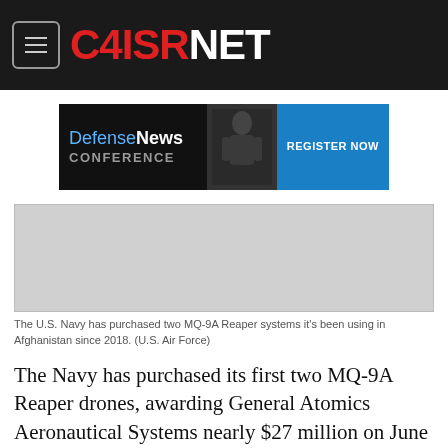C4ISRNET
[Figure (infographic): Defense News Conference advertisement banner with 'REGISTER NOW' button]
[Figure (photo): Gray placeholder image representing the U.S. Navy MQ-9A Reaper drone]
The U.S. Navy has purchased two MQ-9A Reaper systems it's been using in Afghanistan since 2018. (U.S. Air Force)
The Navy has purchased its first two MQ-9A Reaper drones, awarding General Atomics Aeronautical Systems nearly $27 million on June 22 for the unmanned air systems and associated ground control equipment.